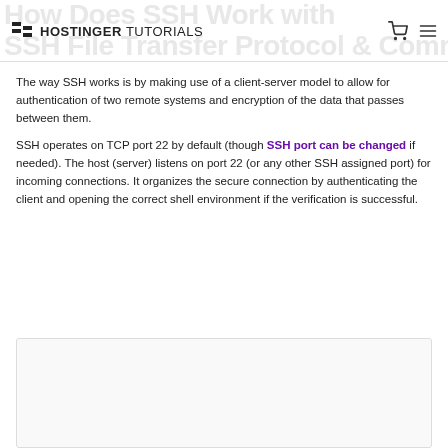HOSTINGER TUTORIALS
The way SSH works is by making use of a client-server model to allow for authentication of two remote systems and encryption of the data that passes between them.
SSH operates on TCP port 22 by default (though SSH port can be changed if needed). The host (server) listens on port 22 (or any other SSH assigned port) for incoming connections. It organizes the secure connection by authenticating the client and opening the correct shell environment if the verification is successful.
[Figure (other): Partially visible image or diagram box at bottom of page]